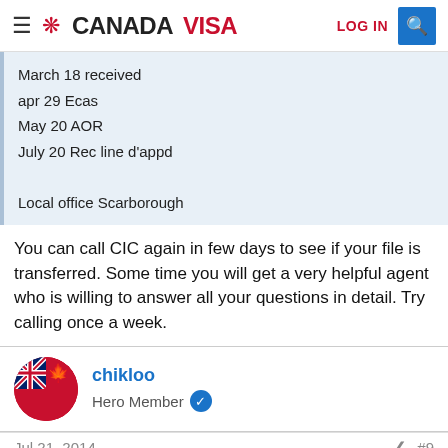CANADAVISA
March 18 received
apr 29 Ecas
May 20 AOR
July 20 Rec line d'appd

Local office Scarborough
You can call CIC again in few days to see if your file is transferred. Some time you will get a very helpful agent who is willing to answer all your questions in detail. Try calling once a week.
chikloo
Hero Member
Jul 21, 2014
#9
parasv said:
You can call CIC again in few days to see if your file is transferred.